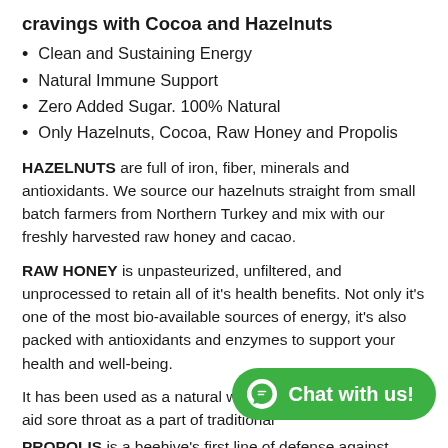cravings with Cocoa and Hazelnuts
Clean and Sustaining Energy
Natural Immune Support
Zero Added Sugar. 100% Natural
Only Hazelnuts, Cocoa, Raw Honey and Propolis
HAZELNUTS are full of iron, fiber, minerals and antioxidants. We source our hazelnuts straight from small batch farmers from Northern Turkey and mix with our freshly harvested raw honey and cacao.
RAW HONEY is unpasteurized, unfiltered, and unprocessed to retain all of it's health benefits. Not only it's one of the most bio-available sources of energy, it's also packed with antioxidants and enzymes to support your health and well-being.
It has been used as a natural way to alleviate cough and aid sore throat as a part of traditional
PROPOLIS is a beehive's first line of defense against microbes